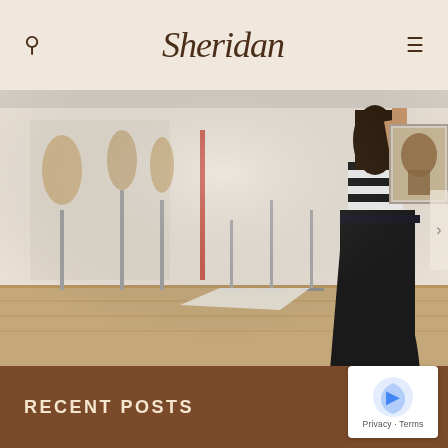Sheridan
[Figure (photo): Woman in a black and white outfit viewed from behind, browsing exhibits in a museum or gallery with display stands and a historical portrait photograph on the wall]
SUN, SANDALS AND BEER
EXPLORE KING'S ROPES AND SADDLERY
RECENT POSTS